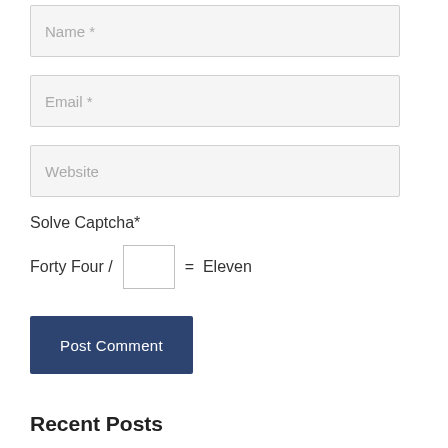Name *
Email *
Website
Solve Captcha*
Forty Four / [input] = Eleven
Post Comment
Recent Posts